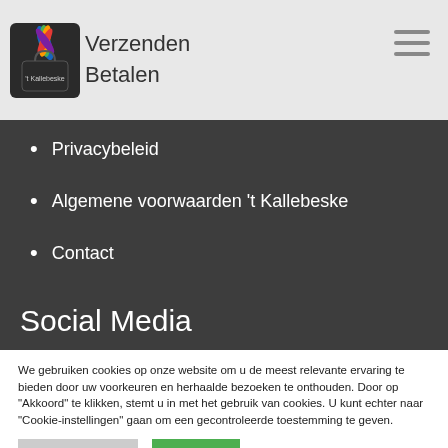Verzenden / Betalen
Privacybeleid
Algemene voorwaarden 't Kallebeske
Contact
Social Media
We gebruiken cookies op onze website om u de meest relevante ervaring te bieden door uw voorkeuren en herhaalde bezoeken te onthouden. Door op "Akkoord" te klikken, stemt u in met het gebruik van cookies. U kunt echter naar "Cookie-instellingen" gaan om een gecontroleerde toestemming te geven.
Cookie Settings | Akkoord